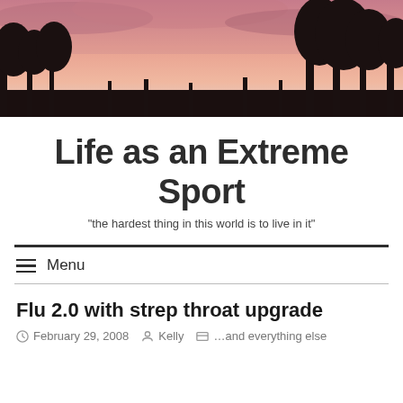[Figure (photo): Pink and purple sunset sky with silhouettes of trees along the horizon]
Life as an Extreme Sport
"the hardest thing in this world is to live in it"
Menu
Flu 2.0 with strep throat upgrade
February 29, 2008   Kelly   ...and everything else